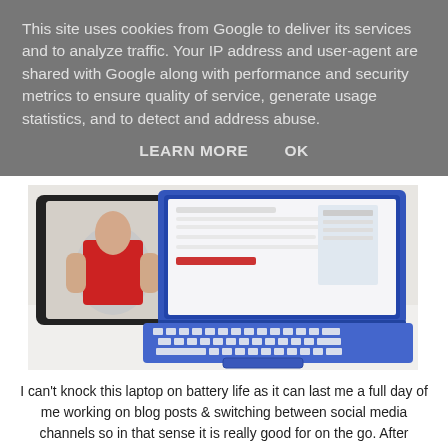This site uses cookies from Google to deliver its services and to analyze traffic. Your IP address and user-agent are shared with Google along with performance and security metrics to ensure quality of service, generate usage statistics, and to detect and address abuse.
LEARN MORE    OK
[Figure (photo): A blue HP laptop open on a white desk next to a tablet in a black case displaying an image of a person in a red top.]
I can't knock this laptop on battery life as it can last me a full day of me working on blog posts & switching between social media channels so in that sense it is really good for on the go. After Christmas I took this on a long journey with us and it lasted me the day and I managed to get plenty done in that time.